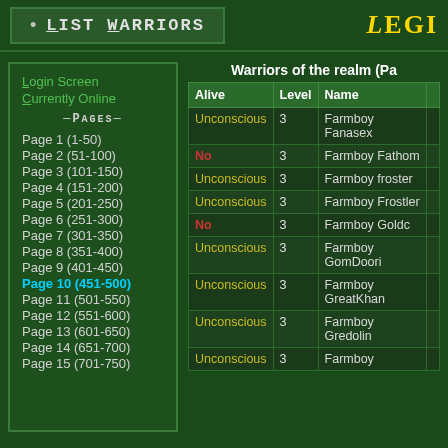List Warriors
Login Screen
Currently Online
—Pages—
Page 1 (1-50)
Page 2 (51-100)
Page 3 (101-150)
Page 4 (151-200)
Page 5 (201-250)
Page 6 (251-300)
Page 7 (301-350)
Page 8 (351-400)
Page 9 (401-450)
Page 10 (451-500)
Page 11 (501-550)
Page 12 (551-600)
Page 13 (601-650)
Page 14 (651-700)
Page 15 (701-750)
Warriors of the realm (Pa...
| Alive | Level | Name |  |
| --- | --- | --- | --- |
| Unconscious | 3 | Farmboy Fanasex |  |
| No | 3 | Farmboy Fathom |  |
| Unconscious | 3 | Farmboy froster |  |
| Unconscious | 3 | Farmboy Frostler |  |
| No | 3 | Farmboy Goldc |  |
| Unconscious | 3 | Farmboy GomDoori |  |
| Unconscious | 3 | Farmboy GreatKhan |  |
| Unconscious | 3 | Farmboy Gredolin |  |
| Unconscious | 3 | Farmboy... |  |